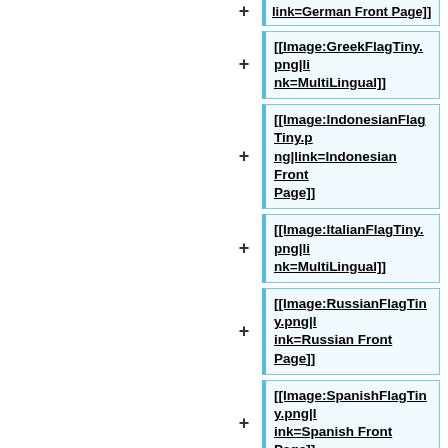[[Image:GreekFlagTiny.png|link=MultiLingual]]
[[Image:IndonesianFlagTiny.png|link=Indonesian Front Page]]
[[Image:ItalianFlagTiny.png|link=MultiLingual]]
[[Image:RussianFlagTiny.png|link=Russian Front Page]]
[[Image:SpanishFlagTiny.png|link=Spanish Front Page]]
[[Image:SwedishFlagTiny.png|link=MultiLingual]]
<!--
[[Image:VietnameseFlagTiny.p